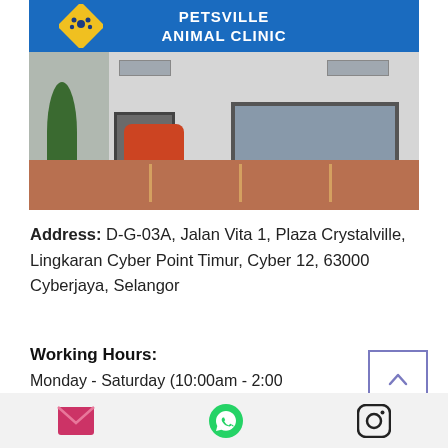[Figure (photo): Exterior photo of Petsville Animal Clinic storefront with blue sign, glass door and windows, motorcycle parked outside, and parking lot in foreground.]
Address: D-G-03A, Jalan Vita 1, Plaza Crystalville, Lingkaran Cyber Point Timur, Cyber 12, 63000 Cyberjaya, Selangor
Working Hours:
Monday - Saturday (10:00am - 2:00pm, 4:00pm - 7:00pm)